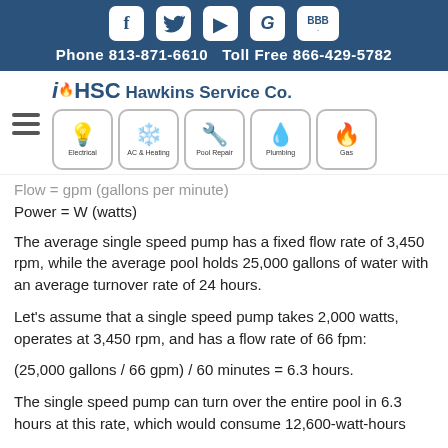Phone 813-871-6610   Toll Free 866-429-5782
[Figure (logo): Hawkins Service Co. logo with service icons: Electrical, AC & Heating, Pool Repair, Plumbing, Gas]
Flow = gpm (gallons per minute)
Power = W (watts)
The average single speed pump has a fixed flow rate of 3,450 rpm, while the average pool holds 25,000 gallons of water with an average turnover rate of 24 hours.
Let's assume that a single speed pump takes 2,000 watts, operates at 3,450 rpm, and has a flow rate of 66 fpm:
The single speed pump can turn over the entire pool in 6.3 hours at this rate, which would consume 12,600-watt-hours